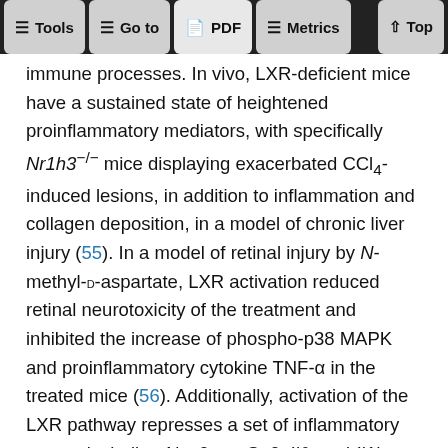Tools | Go to | PDF | Metrics | Top
immune processes. In vivo, LXR-deficient mice have a sustained state of heightened proinflammatory mediators, with specifically Nr1h3−/− mice displaying exacerbated CCl4-induced lesions, in addition to inflammation and collagen deposition, in a model of chronic liver injury (55). In a model of retinal injury by N-methyl-D-aspartate, LXR activation reduced retinal neurotoxicity of the treatment and inhibited the increase of phospho-p38 MAPK and proinflammatory cytokine TNF-α in the treated mice (56). Additionally, activation of the LXR pathway represses a set of inflammatory genes, including Nos2, mt-Co2, Il6, and Il1b, after LPS, TNF-α, or IL-1β stimulation (37). In our study, we have shown the accumulation of ADGRE1+ macrophages in the outer retina of Nr1h3−/− mice, indicating a proinflammatory